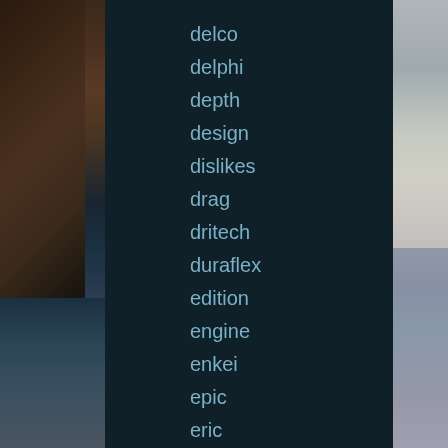[Figure (photo): Left strip: rocky coastal cliff with ocean waves at the bottom, dark brown and grey tones]
[Figure (photo): Right strip: ocean scene with waves and overcast sky, muted grey-blue tones]
delco
delphi
depth
design
dislikes
drag
dritech
duraflex
edition
engine
enkei
epic
eric
excel-g
exchange
exclusive
factory
ferrea